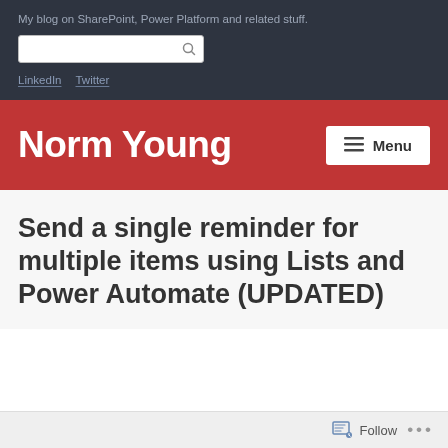My blog on SharePoint, Power Platform and related stuff.
LinkedIn  Twitter
Norm Young
Menu
Send a single reminder for multiple items using Lists and Power Automate (UPDATED)
Follow